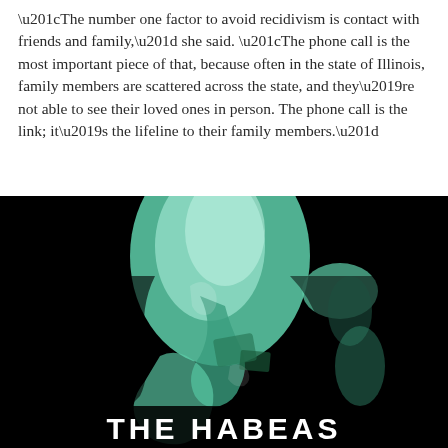“The number one factor to avoid recidivism is contact with friends and family,” she said. “The phone call is the most important piece of that, because often in the state of Illinois, family members are scattered across the state, and they’re not able to see their loved ones in person. The phone call is the link; it’s the lifeline to their family members.”
[Figure (illustration): Dark artistic illustration of a person’s face/head in profile rendered in black and teal/green tones, with abstract distorted shapes. At the bottom, large bold white text reads ‘THE HABEAS’.]